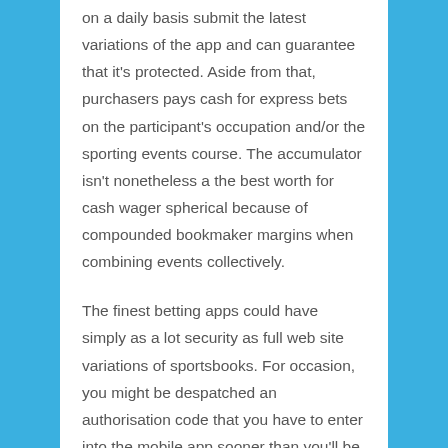on a daily basis submit the latest variations of the app and can guarantee that it's protected. Aside from that, purchasers pays cash for express bets on the participant's occupation and/or the sporting events course. The accumulator isn't nonetheless a the best worth for cash wager spherical because of compounded bookmaker margins when combining events collectively.
The finest betting apps could have simply as a lot security as full web site variations of sportsbooks. For occasion, you might be despatched an authorisation code that you have to enter into the mobile app sooner than you'll be in a position to full the tactic and login. Many people refrain from utilizing betting apps because of they consider they're unsafe. They